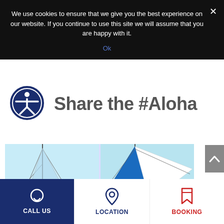We use cookies to ensure that we give you the best experience on our website. If you continue to use this site we will assume that you are happy with it.
Ok
Share the #Aloha
[Figure (photo): Sailboat masts and sails against a light blue sky, split into two panels]
CALL US
LOCATION
BOOKING